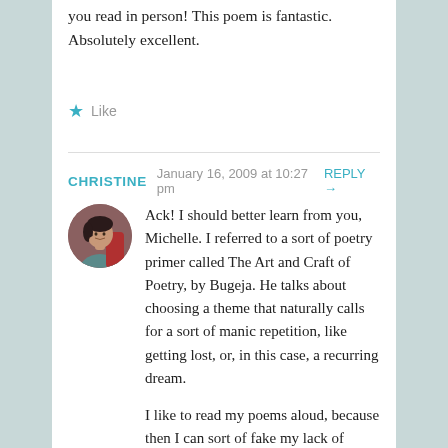you read in person! This poem is fantastic. Absolutely excellent.
★ Like
CHRISTINE  January 16, 2009 at 10:27 pm  REPLY →
[Figure (photo): Circular avatar photo of Christine, a woman with dark hair resting her hand near her face, sitting in a red chair.]
Ack! I should better learn from you, Michelle. I referred to a sort of poetry primer called The Art and Craft of Poetry, by Bugeja. He talks about choosing a theme that naturally calls for a sort of manic repetition, like getting lost, or, in this case, a recurring dream.
I like to read my poems aloud, because then I can sort of fake my lack of meter! But thanks everyone, for listening.